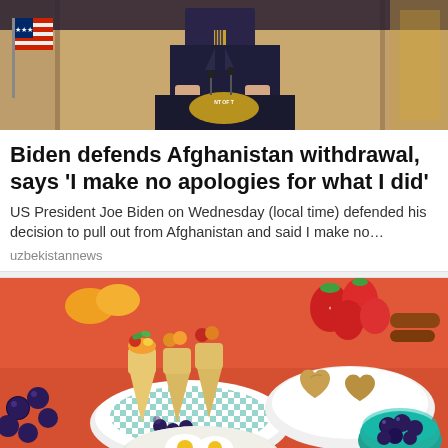[Figure (photo): Photo of US President Joe Biden at a podium with presidential seal, American flag visible on left, ornate curtain background]
Biden defends Afghanistan withdrawal, says 'I make no apologies for what I did'
US President Joe Biden on Wednesday (local time) defended his decision to pull out from Afghanistan and said I make no...
uzbekistannews
[Figure (photo): Photo of a colorful food spread on a red/orange tablecloth featuring waffle cones with fruit, plates with blueberries, heart-shaped sandwiches, strawberries, and a bowl of blueberries]